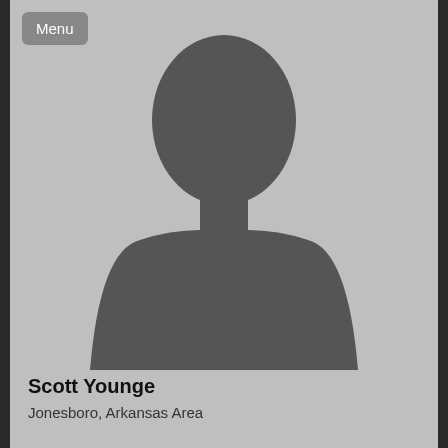[Figure (illustration): Default silhouette profile photo placeholder showing a generic gray person outline (head and shoulders) on a gray background]
Menu
Scott Younge
Jonesboro, Arkansas Area